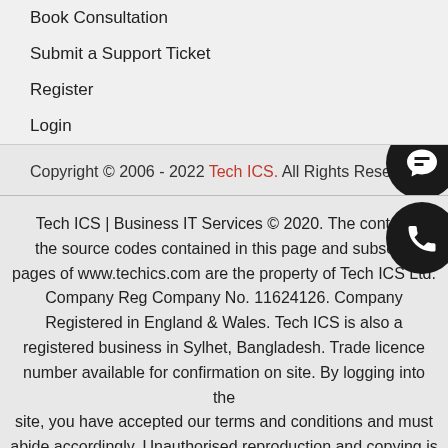Book Consultation
Submit a Support Ticket
Register
Login
Copyright © 2006 - 2022 Tech ICS. All Rights Reserved.
Tech ICS | Business IT Services © 2020. The content and the source codes contained in this page and subsequent pages of www.techics.com are the property of Tech ICS Ltd. Company Reg Company No. 11624126. Company Registered in England & Wales. Tech ICS is also a registered business in Sylhet, Bangladesh. Trade licence number available for confirmation on site. By logging into the site, you have accepted our terms and conditions and must abide accordingly. Unauthorised reproduction and copying is